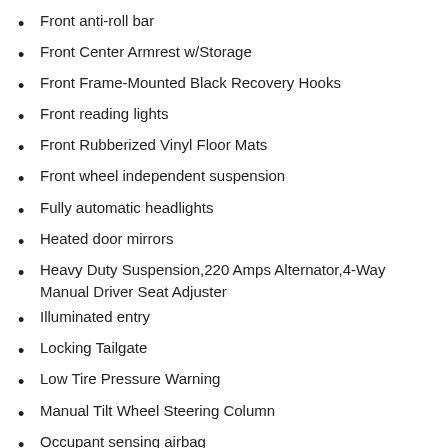Front anti-roll bar
Front Center Armrest w/Storage
Front Frame-Mounted Black Recovery Hooks
Front reading lights
Front Rubberized Vinyl Floor Mats
Front wheel independent suspension
Fully automatic headlights
Heated door mirrors
Heavy Duty Suspension,220 Amps Alternator,4-Way Manual Driver Seat Adjuster
Illuminated entry
Locking Tailgate
Low Tire Pressure Warning
Manual Tilt Wheel Steering Column
Occupant sensing airbag
OnStar & Chevrolet Connected Services Capable
Outside temperature display
Overhead airbag